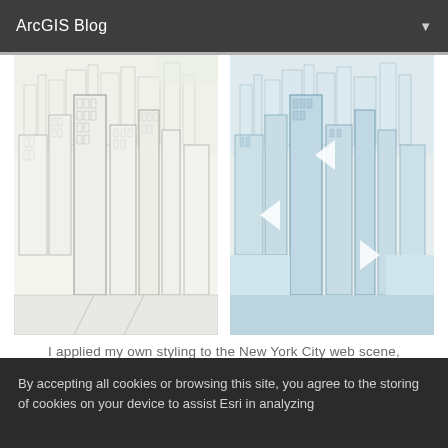ArcGIS Blog
[Figure (illustration): Two side-by-side 3D sketch-style renderings of New York City buildings. Left image shows white/light line-drawing style skyscrapers. Right image shows the same scene with a bluish-green tinted transparent coloring on the buildings.]
I applied my own styling to the New York City web scene, adding color and transparency.
By accepting all cookies or browsing this site, you agree to the storing of cookies on your device to assist Esri in analyzing